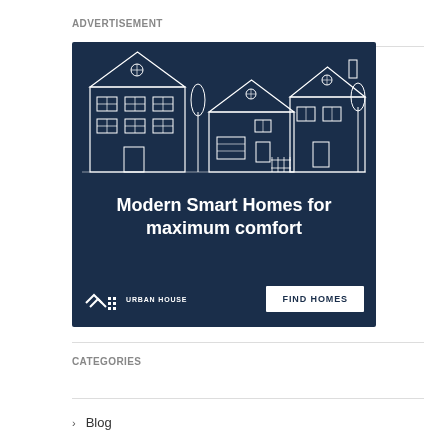ADVERTISEMENT
[Figure (illustration): Advertisement banner for Urban House featuring line-art illustrations of three houses on a dark navy background, with tagline 'Modern Smart Homes for maximum comfort', Urban House logo, and a 'FIND HOMES' button.]
CATEGORIES
Blog